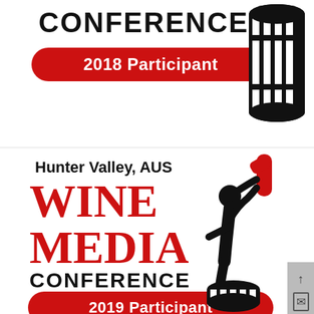[Figure (logo): Wine Media Conference 2018 Participant badge with wine barrel silhouette icon. Shows 'CONFERENCE' text in bold black, a red rounded pill badge reading '2018 Participant', and a black wine barrel graphic on the right.]
[Figure (logo): Wine Media Conference 2019 Participant badge. Shows 'Hunter Valley, AUS' in bold black, 'WINE MEDIA' in large red serif text, 'CONFERENCE' in bold black, a red rounded pill badge reading '2019 Participant', and a black silhouette of a person drinking from a bottle with a red bottle on top.]